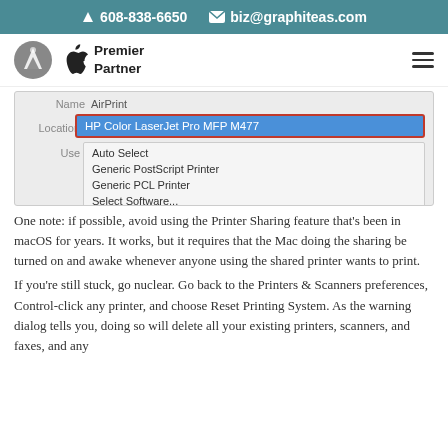608-838-6650   biz@graphiteas.com
[Figure (logo): Navigation bar with circular mountain logo, Apple logo with 'Premier Partner' text, and hamburger menu icon]
[Figure (screenshot): macOS printer driver selection dropdown showing: AirPrint (Name field), HP Color LaserJet Pro MFP M477 (highlighted in blue with red border, Location field), Auto Select, Generic PostScript Printer, Generic PCL Printer, Select Software..., Other...]
One note: if possible, avoid using the Printer Sharing feature that’s been in macOS for years. It works, but it requires that the Mac doing the sharing be turned on and awake whenever anyone using the shared printer wants to print.
If you’re still stuck, go nuclear. Go back to the Printers & Scanners preferences, Control-click any printer, and choose Reset Printing System. As the warning dialog tells you, doing so will delete all your existing printers, scanners, and faxes, and any